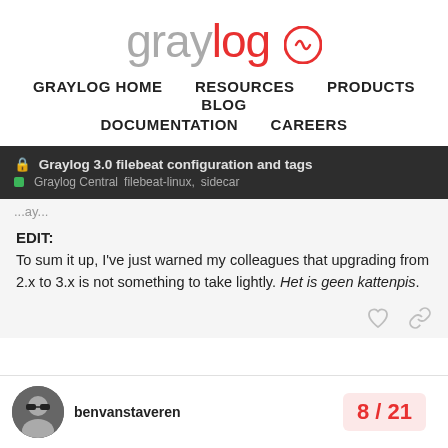[Figure (logo): Graylog logo with gray 'gray' and red 'log' text]
GRAYLOG HOME   RESOURCES   PRODUCTS   BLOG   DOCUMENTATION   CAREERS
🔒 Graylog 3.0 filebeat configuration and tags | Graylog Central   filebeat-linux,  sidecar
EDIT:
To sum it up, I've just warned my colleagues that upgrading from 2.x to 3.x is not something to take lightly. Het is geen kattenpis.
benvanstaveren   8 / 21